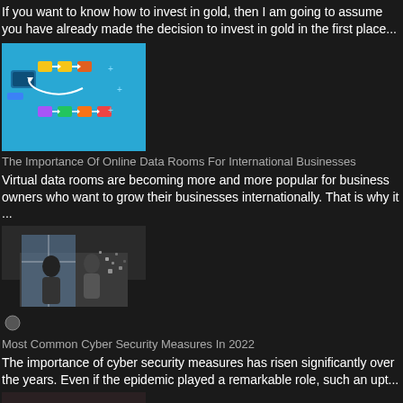If you want to know how to invest in gold, then I am going to assume you have already made the decision to invest in gold in the first place...
[Figure (illustration): Thumbnail image showing a workflow or process diagram with icons and arrows on a blue background]
The Importance Of Online Data Rooms For International Businesses
Virtual data rooms are becoming more and more popular for business owners who want to grow their businesses internationally. That is why it ...
[Figure (photo): Photo of two business people in an office, one appears fragmented or dissolving digitally]
Most Common Cyber Security Measures In 2022
The importance of cyber security measures has risen significantly over the years. Even if the epidemic played a remarkable role, such an upt...
[Figure (photo): Photo of people working around a table with laptops and documents, aerial view]
How To Choose The Right Business Structure For Your Startup